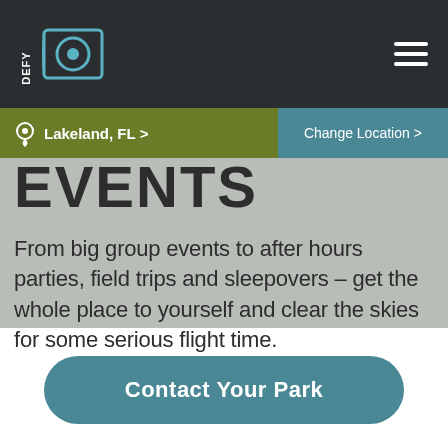DEFY — Navigation header with logo and hamburger menu
Lakeland, FL > Change Location >
EVENTS
From big group events to after hours parties, field trips and sleepovers – get the whole place to yourself and clear the skies for some serious flight time.
Contact Your Park